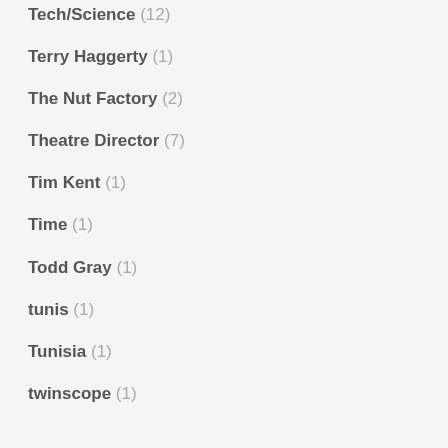Tech/Science (12)
Terry Haggerty (1)
The Nut Factory (2)
Theatre Director (7)
Tim Kent (1)
Time (1)
Todd Gray (1)
tunis (1)
Tunisia (1)
twinscope (1)